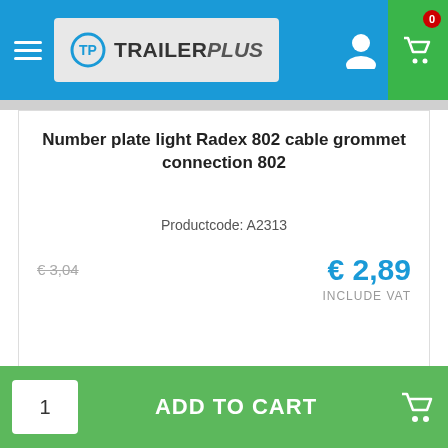TrailerPlus
Number plate light Radex 802 cable grommet connection 802
Productcode: A2313
€ 3,04 (old price) € 2,89 INCLUDE VAT
STOCK
1 ADD TO CART